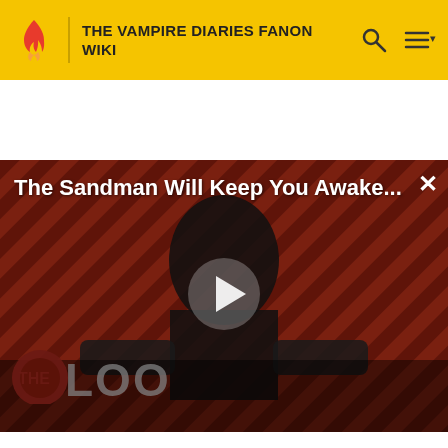THE VAMPIRE DIARIES FANON WIKI
[Figure (screenshot): Video player showing The Sandman character in black against a red diagonal striped background with The Loop logo. A play button triangle is visible in the center. Title text 'The Sandman Will Awake...' overlaid at top.]
The Sandman Will Keep You Awake - The Loop  01:40
[Figure (photo): Thumbnail image showing a blonde woman's face in a dark, dramatic close-up scene.]